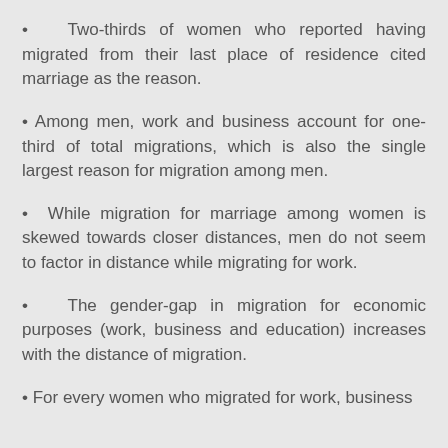Two-thirds of women who reported having migrated from their last place of residence cited marriage as the reason.
Among men, work and business account for one-third of total migrations, which is also the single largest reason for migration among men.
While migration for marriage among women is skewed towards closer distances, men do not seem to factor in distance while migrating for work.
The gender-gap in migration for economic purposes (work, business and education) increases with the distance of migration.
For every women who migrated for work, business